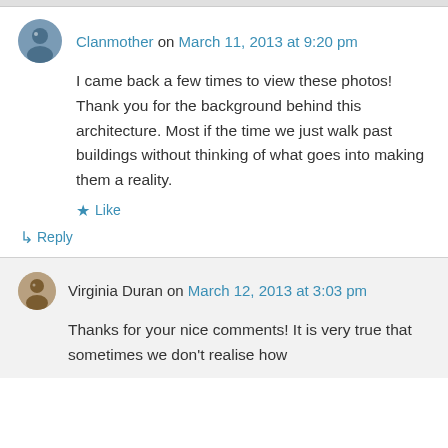Clanmother on March 11, 2013 at 9:20 pm
I came back a few times to view these photos! Thank you for the background behind this architecture. Most if the time we just walk past buildings without thinking of what goes into making them a reality.
★ Like
↳ Reply
Virginia Duran on March 12, 2013 at 3:03 pm
Thanks for your nice comments! It is very true that sometimes we don't realise how